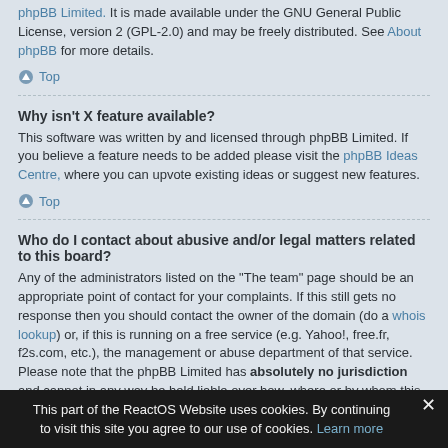phpBB Limited. It is made available under the GNU General Public License, version 2 (GPL-2.0) and may be freely distributed. See About phpBB for more details.
Top
Why isn't X feature available?
This software was written by and licensed through phpBB Limited. If you believe a feature needs to be added please visit the phpBB Ideas Centre, where you can upvote existing ideas or suggest new features.
Top
Who do I contact about abusive and/or legal matters related to this board?
Any of the administrators listed on the “The team” page should be an appropriate point of contact for your complaints. If this still gets no response then you should contact the owner of the domain (do a whois lookup) or, if this is running on a free service (e.g. Yahoo!, free.fr, f2s.com, etc.), the management or abuse department of that service. Please note that the phpBB Limited has absolutely no jurisdiction and cannot in any way be held liable over how, where or by whom this board is used. Do not contact the phpBB Limited in relation to any legal (cease and desist, liable, defamatory comment, etc.) matter not directly related to the phpBB.com website or the discrete software of
This part of the ReactOS Website uses cookies. By continuing to visit this site you agree to our use of cookies. Learn more